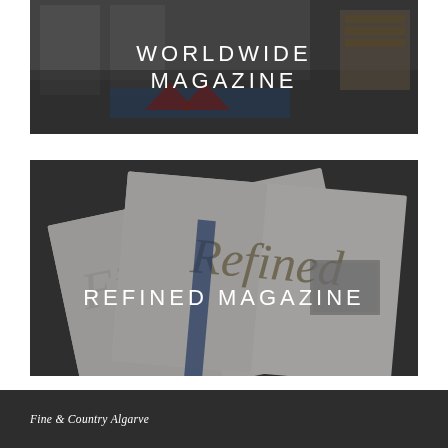[Figure (photo): Interior room photo with dark overlay, showing living space viewed from above with blue rug and red accents]
WORLDWIDE MAGAZINE
[Figure (photo): Overhead photo of open magazines labeled 'Finer' and 'Refined' on a dark surface]
REFINED MAGAZINE
Fine & Country Algarve